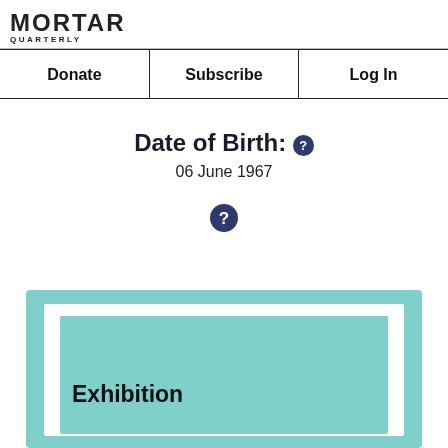MORTAR QUARTERLY
| Donate | Subscribe | Log In |
| --- | --- | --- |
Date of Birth:
06 June 1967
[Figure (other): Help/info icon (blue circle with question mark)]
[Figure (other): Teal exhibition banner box with nested white and teal rectangles and 'Exhibition' label]